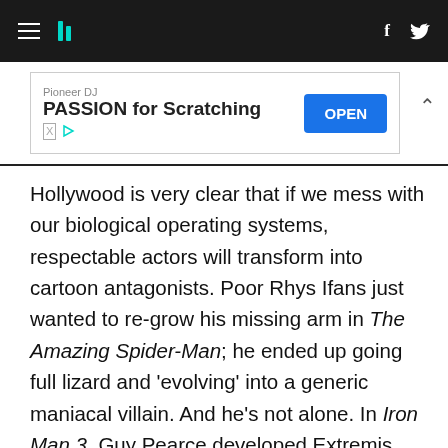HuffPost navigation with hamburger menu, logo, Facebook and Twitter icons
[Figure (other): Advertisement banner: Pioneer DJ - PASSION for Scratching, with OPEN button]
Hollywood is very clear that if we mess with our biological operating systems, respectable actors will transform into cartoon antagonists. Poor Rhys Ifans just wanted to re-grow his missing arm in The Amazing Spider-Man; he ended up going full lizard and 'evolving' into a generic maniacal villain. And he's not alone. In Iron Man 3, Guy Pearce developed Extremis and started smouldering more than Ryan Gosling. On a more cerebral level, Gattaca showed us that genetic tampering will divide and totally destabilise